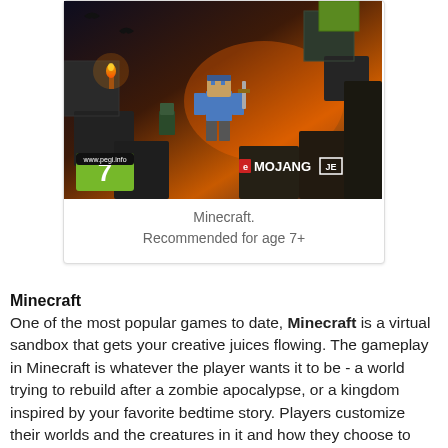[Figure (illustration): Minecraft game cover art showing a character in a blocky dungeon environment with torches and stone blocks. PEGI 7 rating badge in bottom left corner, Mojang logo in bottom right corner.]
Minecraft.
Recommended for age 7+
Minecraft
One of the most popular games to date, Minecraft is a virtual sandbox that gets your creative juices flowing. The gameplay in Minecraft is whatever the player wants it to be - a world trying to rebuild after a zombie apocalypse, or a kingdom inspired by your favorite bedtime story. Players customize their worlds and the creatures in it and how they choose to interact. There are infinite possibilities, and your only limitation is your imagination.